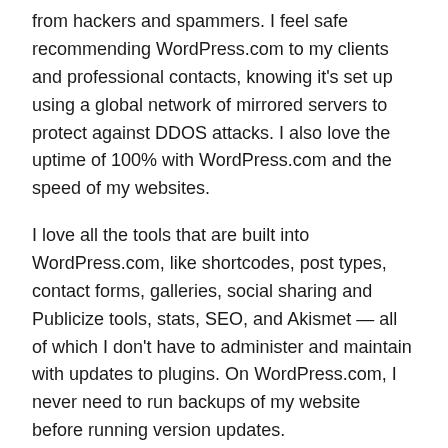from hackers and spammers. I feel safe recommending WordPress.com to my clients and professional contacts, knowing it's set up using a global network of mirrored servers to protect against DDOS attacks. I also love the uptime of 100% with WordPress.com and the speed of my websites.
I love all the tools that are built into WordPress.com, like shortcodes, post types, contact forms, galleries, social sharing and Publicize tools, stats, SEO, and Akismet — all of which I don't have to administer and maintain with updates to plugins. On WordPress.com, I never need to run backups of my website before running version updates.